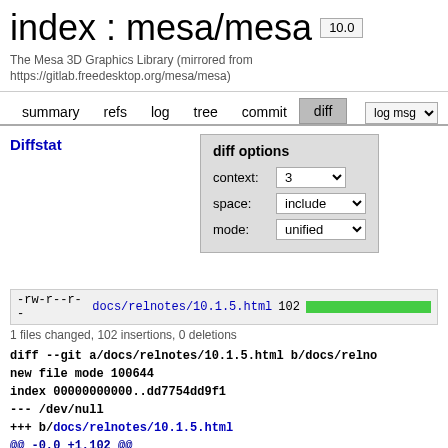index : mesa/mesa 10.0
The Mesa 3D Graphics Library (mirrored from https://gitlab.freedesktop.org/mesa/mesa)
summary  refs  log  tree  commit  diff  log msg
Diffstat
diff options
context: 3
space: include
mode: unified
-rw-r--r-- docs/relnotes/10.1.5.html 102
1 files changed, 102 insertions, 0 deletions
diff --git a/docs/relnotes/10.1.5.html b/docs/relno
new file mode 100644
index 00000000000..dd7754dd9f1
--- /dev/null
+++ b/docs/relnotes/10.1.5.html
@@ -0,0 +1,102 @@
+<!DOCTYPE HTML PUBLIC "-//W3C//DTD HTML 4.01 Trans